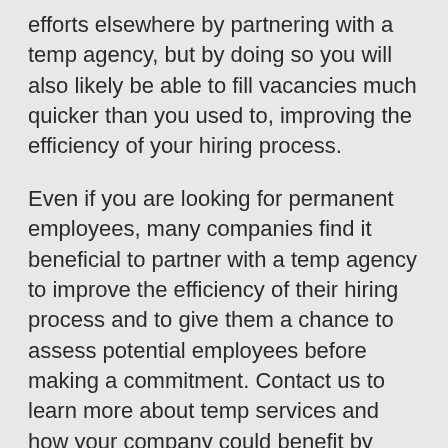efforts elsewhere by partnering with a temp agency, but by doing so you will also likely be able to fill vacancies much quicker than you used to, improving the efficiency of your hiring process.
Even if you are looking for permanent employees, many companies find it beneficial to partner with a temp agency to improve the efficiency of their hiring process and to give them a chance to assess potential employees before making a commitment. Contact us to learn more about temp services and how your company could benefit by partnering with a temporary staffing agency.